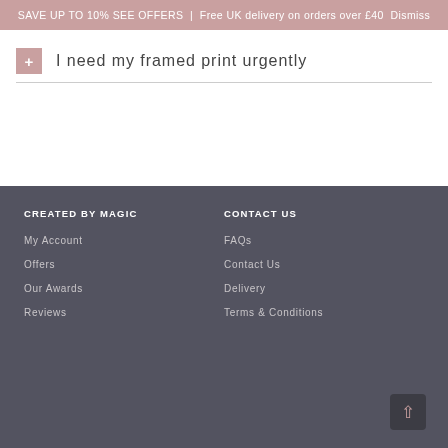SAVE UP TO 10% SEE OFFERS | Free UK delivery on orders over £40 Dismiss
+ I need my framed print urgently
CREATED BY MAGIC
CONTACT US
My Account
Offers
Our Awards
Reviews
FAQs
Contact Us
Delivery
Terms & Conditions